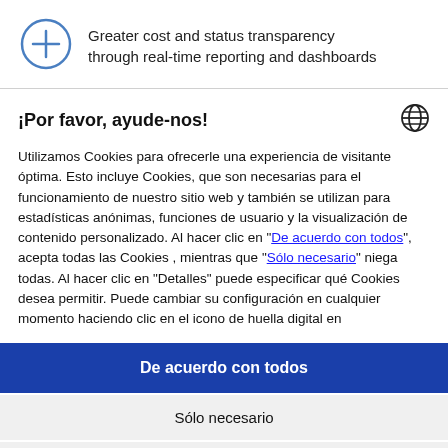Greater cost and status transparency through real-time reporting and dashboards
¡Por favor, ayude-nos!
Utilizamos Cookies para ofrecerle una experiencia de visitante óptima. Esto incluye Cookies, que son necesarias para el funcionamiento de nuestro sitio web y también se utilizan para estadísticas anónimas, funciones de usuario y la visualización de contenido personalizado. Al hacer clic en "De acuerdo con todos", acepta todas las Cookies , mientras que "Sólo necesario" niega todas. Al hacer clic en "Detalles" puede especificar qué Cookies desea permitir. Puede cambiar su configuración en cualquier momento haciendo clic en el icono de huella digital en
De acuerdo con todos
Sólo necesario
Detalles
Powered by Usercentrics Consent Management